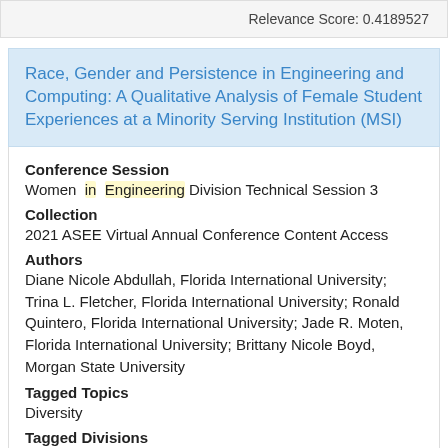Relevance Score: 0.4189527
Race, Gender and Persistence in Engineering and Computing: A Qualitative Analysis of Female Student Experiences at a Minority Serving Institution (MSI)
Conference Session
Women in Engineering Division Technical Session 3
Collection
2021 ASEE Virtual Annual Conference Content Access
Authors
Diane Nicole Abdullah, Florida International University; Trina L. Fletcher, Florida International University; Ronald Quintero, Florida International University; Jade R. Moten, Florida International University; Brittany Nicole Boyd, Morgan State University
Tagged Topics
Diversity
Tagged Divisions
Women in Engineering